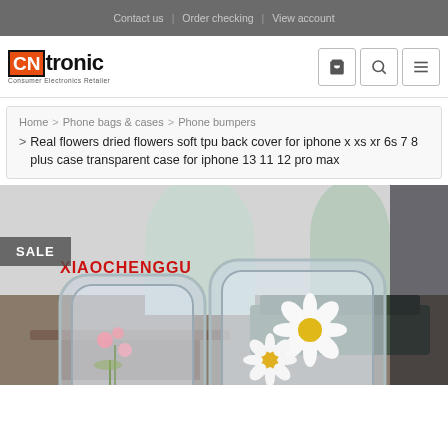Contact us | Order checking | View account
[Figure (logo): CNtronic - Consumer Electronics Retailer logo with CN in orange/red box]
Home > Phone bags & cases > Phone bumpers > Real flowers dried flowers soft tpu back cover for iphone x xs xr 6s 7 8 plus case transparent case for iphone 13 11 12 pro max
[Figure (photo): Product photo showing transparent phone cases with dried real flowers inside - one with small pink flowers and one with white daisy flowers. Red text in background reads XIAOCHENGGU. SALE badge visible on left side.]